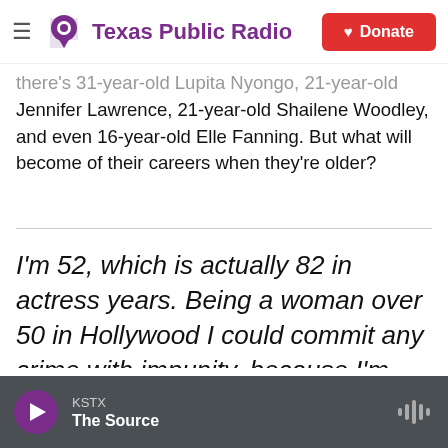Texas Public Radio — Donate
there's 31-year-old Lupita Nyongo, 21-year-old Jennifer Lawrence, 21-year-old Shailene Woodley, and even 16-year-old Elle Fanning. But what will become of their careers when they're older?
I'm 52, which is actually 82 in actress years. Being a woman over 50 in Hollywood I could commit any crime with impunity, because I'm completely invisible.
KSTX — The Source